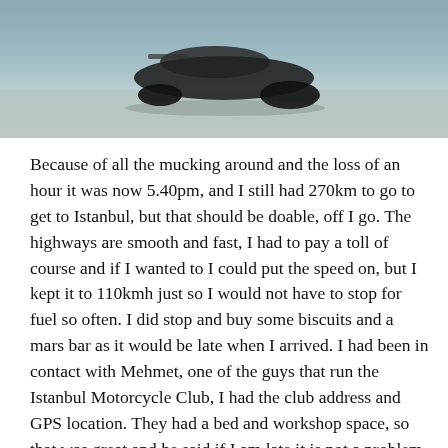[Figure (photo): Aerial or overhead view of a motorcycle on a paved surface, partial view cropped at top of page]
Because of all the mucking around and the loss of an hour it was now 5.40pm, and I still had 270km to go to get to Istanbul, but that should be doable, off I go. The highways are smooth and fast, I had to pay a toll of course and if I wanted to I could put the speed on, but I kept it to 110kmh just so I would not have to stop for fuel so often. I did stop and buy some biscuits and a mars bar as it would be late when I arrived. I had been in contact with Mehmet, one of the guys that run the Istanbul Motorcycle Club, I had the club address and GPS location. They had a bed and workshop space, so that was great and he said if I am late it is not a problem. I did consider during the latter part of the ride of just finding a motel as I hit massive traffic jams